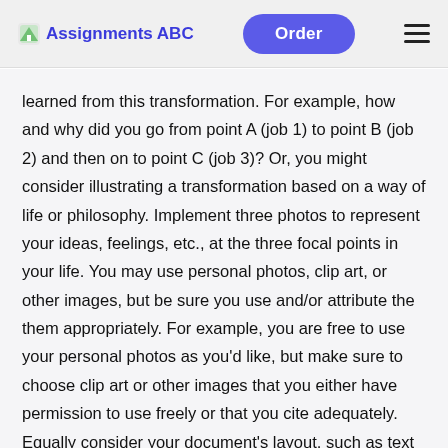Assignments ABC   Order
learned from this transformation. For example, how and why did you go from point A (job 1) to point B (job 2) and then on to point C (job 3)? Or, you might consider illustrating a transformation based on a way of life or philosophy. Implement three photos to represent your ideas, feelings, etc., at the three focal points in your life. You may use personal photos, clip art, or other images, but be sure you use and/or attribute the them appropriately. For example, you are free to use your personal photos as you'd like, but make sure to choose clip art or other images that you either have permission to use freely or that you cite adequately. Equally consider your document's layout, such as text sizes, photo placement (or oth